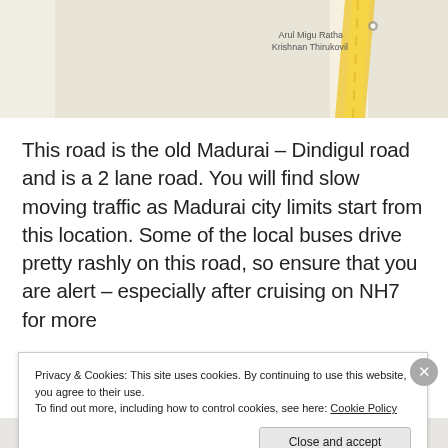[Figure (map): Partial Google Maps view showing a road (yellow road visible) with label 'Arul Migu Ratha Krishnan Thirukovil' in the upper right corner. Beige/tan map background.]
This road is the old Madurai – Dindigul road and is a 2 lane road. You will find slow moving traffic as Madurai city limits start from this location. Some of the local buses drive pretty rashly on this road, so ensure that you are alert – especially after cruising on NH7 for more
Privacy & Cookies: This site uses cookies. By continuing to use this website, you agree to their use.
To find out more, including how to control cookies, see here: Cookie Policy

Close and accept